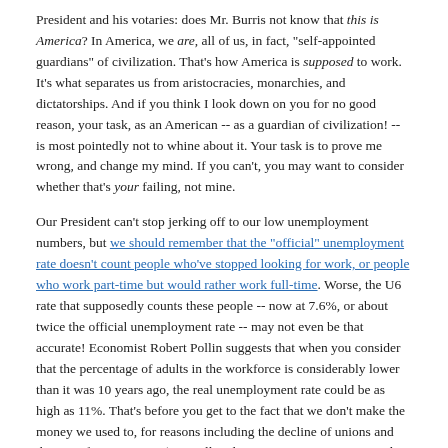President and his votaries: does Mr. Burris not know that this is America? In America, we are, all of us, in fact, "self-appointed guardians" of civilization. That's how America is supposed to work. It's what separates us from aristocracies, monarchies, and dictatorships. And if you think I look down on you for no good reason, your task, as an American -- as a guardian of civilization! -- is most pointedly not to whine about it. Your task is to prove me wrong, and change my mind. If you can't, you may want to consider whether that's your failing, not mine.
Our President can't stop jerking off to our low unemployment numbers, but we should remember that the "official" unemployment rate doesn't count people who've stopped looking for work, or people who work part-time but would rather work full-time. Worse, the U6 rate that supposedly counts these people -- now at 7.6%, or about twice the official unemployment rate -- may not even be that accurate! Economist Robert Pollin suggests that when you consider that the percentage of adults in the workforce is considerably lower than it was 10 years ago, the real unemployment rate could be as high as 11%. That's before you get to the fact that we don't make the money we used to, for reasons including the decline of unions and the rise of outsourcing. (Mr. Pollin also says our government needs to invest in a "Green New Deal" that creates renewable energy jobs, and of course he's right about that.)
Perhaps sensing he's under fire for avoiding meeting with his Consumer Advisory Board as mandated by law, CFPB acting director Mick Mulvaney